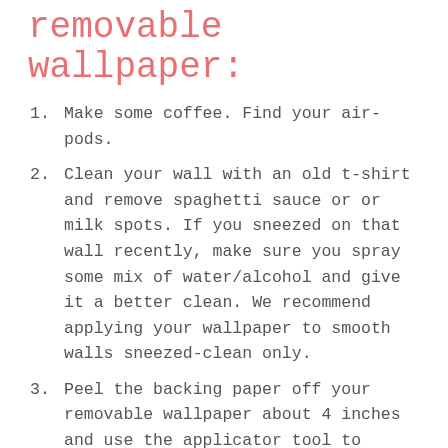removable wallpaper:
Make some coffee. Find your air-pods.
Clean your wall with an old t-shirt and remove spaghetti sauce or or milk spots. If you sneezed on that wall recently, make sure you spray some mix of water/alcohol and give it a better clean. We recommend applying your wallpaper to smooth walls sneezed-clean only.
Peel the backing paper off your removable wallpaper about 4 inches and use the applicator tool to stick and smooth the wallpaper against the wall all the way down. You can also use your hands to smooth it. Please don't forget to take a look at the how-to guide I include on the order, there is a part about overlapping the